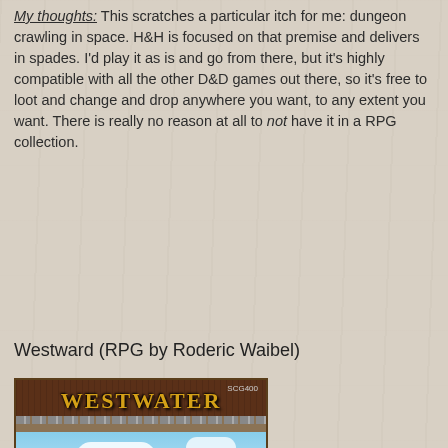My thoughts: This scratches a particular itch for me: dungeon crawling in space. H&H is focused on that premise and delivers in spades. I'd play it as is and go from there, but it's highly compatible with all the other D&D games out there, so it's free to loot and change and drop anywhere you want, to any extent you want. There is really no reason at all to not have it in a RPG collection.
Westward (RPG by Roderic Waibel)
[Figure (illustration): Book cover for 'Westwater' RPG supplement (SCG400). Features a Western scene with riders on horseback in a frontier town. Two main characters prominently displayed on horses — one appears to be a Native American figure holding a rifle, the other a cowboy figure with a pistol. Background shows frontier buildings and blue sky with clouds. Brown weathered wood border at top with barbed wire detail. Title 'WESTWATER' in large yellow/gold stylized text.]